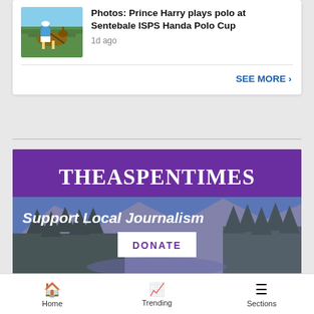[Figure (screenshot): Thumbnail of Prince Harry playing polo at Sentebale ISPS Handa Polo Cup]
Photos: Prince Harry plays polo at Sentebale ISPS Handa Polo Cup
1d ago
SEE MORE ›
[Figure (photo): The Aspen Times advertisement banner with 'Support Local Journalism' text, DONATE button, and mountain forest landscape photo]
[Figure (screenshot): Seamless food delivery advertisement bar with pizza image, red Seamless logo, and ORDER NOW button]
Home  Trending  Sections